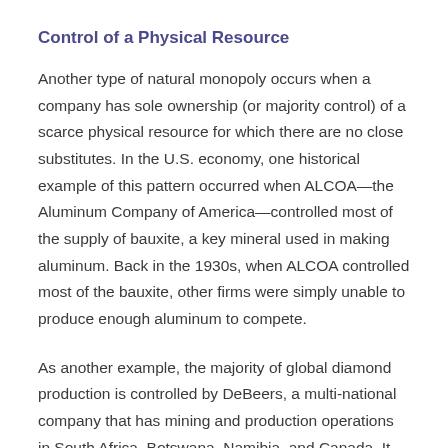Control of a Physical Resource
Another type of natural monopoly occurs when a company has sole ownership (or majority control) of a scarce physical resource for which there are no close substitutes. In the U.S. economy, one historical example of this pattern occurred when ALCOA—the Aluminum Company of America—controlled most of the supply of bauxite, a key mineral used in making aluminum. Back in the 1930s, when ALCOA controlled most of the bauxite, other firms were simply unable to produce enough aluminum to compete.
As another example, the majority of global diamond production is controlled by DeBeers, a multi-national company that has mining and production operations in South Africa, Botswana, Namibia, and Canada. It also